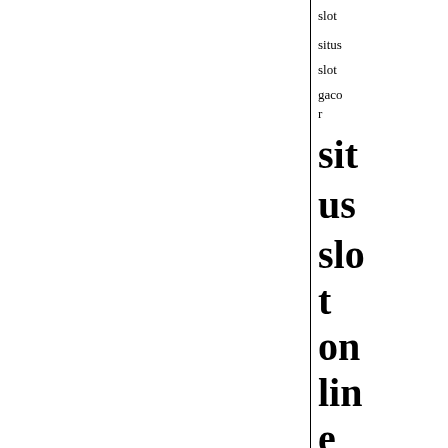slot
situs
slot
gacor
situs slot online
situs slot onli